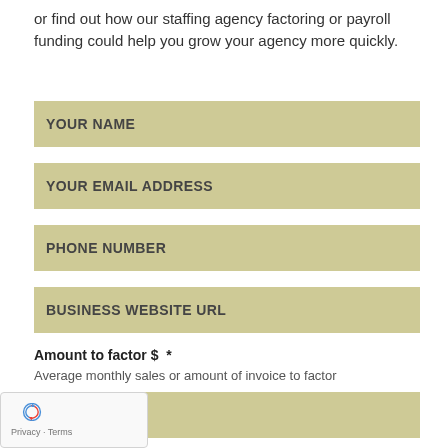or find out how our staffing agency factoring or payroll funding could help you grow your agency more quickly.
YOUR NAME
YOUR EMAIL ADDRESS
PHONE NUMBER
BUSINESS WEBSITE URL
Amount to factor $  *
Average monthly sales or amount of invoice to factor
[Figure (other): reCAPTCHA widget with logo, Privacy and Terms links]